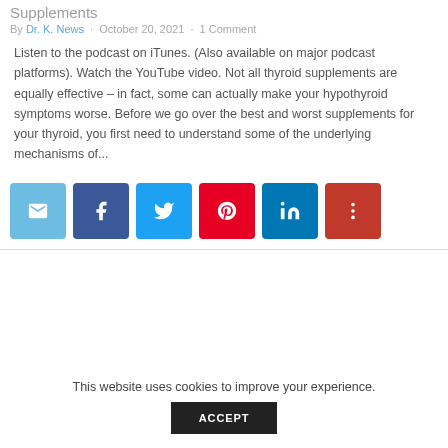Supplements
By Dr. K. News · October 20, 2021 · 1 Comment
Listen to the podcast on iTunes. (Also available on major podcast platforms). Watch the YouTube video. Not all thyroid supplements are equally effective – in fact, some can actually make your hypothyroid symptoms worse. Before we go over the best and worst supplements for your thyroid, you first need to understand some of the underlying mechanisms of...
[Figure (infographic): Social share buttons: email, Facebook, Twitter, Pinterest, LinkedIn, More]
This website uses cookies to improve your experience.
ACCEPT